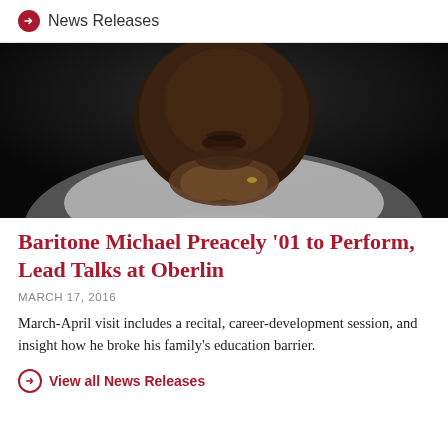News Releases
[Figure (photo): Close-up portrait of a Black man in a white shirt, hands clasped under his chin, against a dark background — Michael Preacely]
Baritone Michael Preacely '01 to Perform, Lead Talks at Oberlin
MARCH 17, 2016
March-April visit includes a recital, career-development session, and insight how he broke his family's education barrier.
View all News Releases